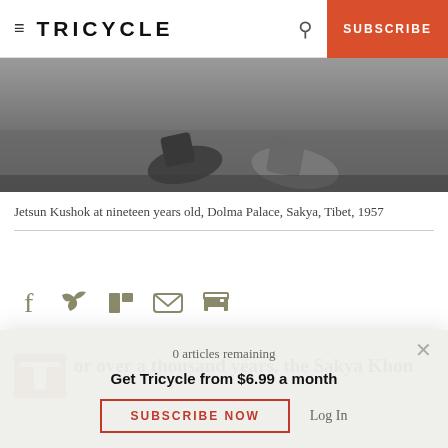TRICYCLE | SUBSCRIBE
[Figure (photo): Black and white photograph showing feet/shoes on grass, Jetsun Kushok at nineteen years old, Dolma Palace, Sakya, Tibet, 1957]
Jetsun Kushok at nineteen years old, Dolma Palace, Sakya, Tibet, 1957
[Figure (infographic): Social sharing icons: Facebook, Twitter, Flipboard, Email, Print]
or over a thousand years, the Sakya Khon
0 articles remaining
Get Tricycle from $6.99 a month
SUBSCRIBE NOW
Log In